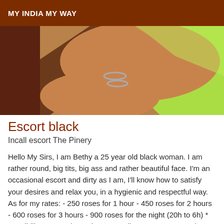MY INDIA MY WAY
[Figure (photo): Close-up photograph of a person's arm and torso wearing a green outfit, with bangles/rings visible on the wrist/finger area.]
Escort black
Incall escort The Pinery
Hello My Sirs, I am Bethy a 25 year old black woman. I am rather round, big tits, big ass and rather beautiful face. I'm an occasional escort and dirty as I am, I'll know how to satisfy your desires and relax you, in a hygienic and respectful way. As for my rates: - 250 roses for 1 hour - 450 roses for 2 hours - 600 roses for 3 hours - 900 roses for the night (20h to 6h) * Possibility to negotiate prices according to your expectations, so if